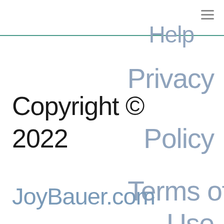≡
Help
Privacy Policy
Terms of Use
Copyright © 2022
JoyBauer.com